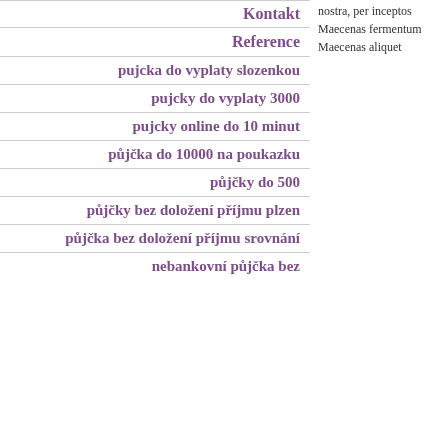Kontakt
nostra, per inceptos Maecenas fermentum Maecenas aliquet
Reference
pujcka do vyplaty slozenkou
pujcky do vyplaty 3000
pujcky online do 10 minut
půjčka do 10000 na poukazku
půjčky do 500
půjčky bez doložení příjmu plzen
půjčka bez doložení příjmu srovnání
nebankovní půjčka bez